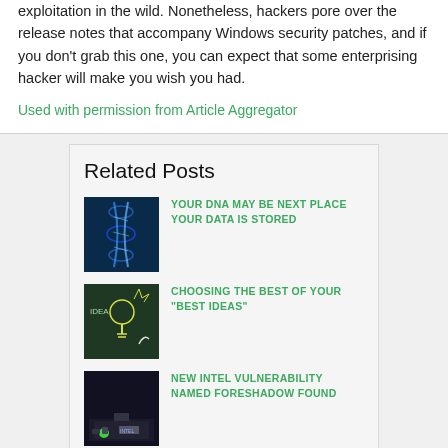exploitation in the wild. Nonetheless, hackers pore over the release notes that accompany Windows security patches, and if you don't grab this one, you can expect that some enterprising hacker will make you wish you had.
Used with permission from Article Aggregator
Related Posts
YOUR DNA MAY BE NEXT PLACE YOUR DATA IS STORED
CHOOSING THE BEST OF YOUR “BEST IDEAS”
NEW INTEL VULNERABILITY NAMED FORESHADOW FOUND